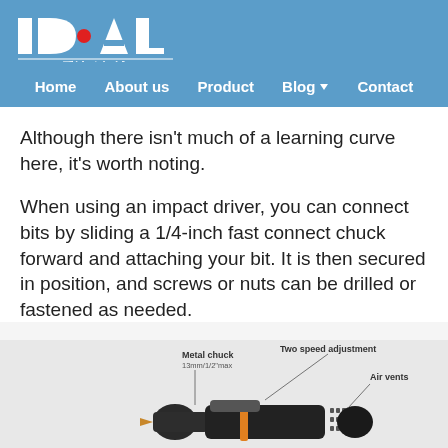IDEAL 爱迪欧机械 — Home | About us | Product | Blog | Contact
Although there isn't much of a learning curve here, it's worth noting.
When using an impact driver, you can connect bits by sliding a 1/4-inch fast connect chuck forward and attaching your bit. It is then secured in position, and screws or nuts can be drilled or fastened as needed.
[Figure (photo): Photograph of an impact driver/drill with labeled parts: Metal chuck (13mm/1/2" max), Two speed adjustment, Air vents]